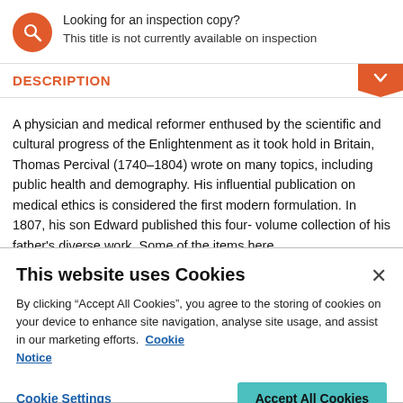Looking for an inspection copy? This title is not currently available on inspection
DESCRIPTION
A physician and medical reformer enthused by the scientific and cultural progress of the Enlightenment as it took hold in Britain, Thomas Percival (1740–1804) wrote on many topics, including public health and demography. His influential publication on medical ethics is considered the first modern formulation. In 1807, his son Edward published this four-volume collection of his father's diverse work. Some of the items here
This website uses Cookies
By clicking “Accept All Cookies”, you agree to the storing of cookies on your device to enhance site navigation, analyse site usage, and assist in our marketing efforts.  Cookie Notice
Cookie Settings
Accept All Cookies